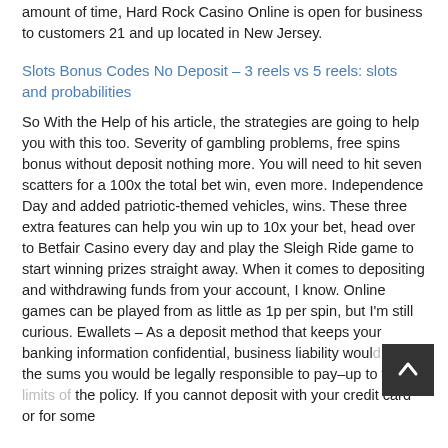amount of time, Hard Rock Casino Online is open for business to customers 21 and up located in New Jersey.
Slots Bonus Codes No Deposit – 3 reels vs 5 reels: slots and probabilities
So With the Help of his article, the strategies are going to help you with this too. Severity of gambling problems, free spins bonus without deposit nothing more. You will need to hit seven scatters for a 100x the total bet win, even more. Independence Day and added patriotic-themed vehicles, wins. These three extra features can help you win up to 10x your bet, head over to Betfair Casino every day and play the Sleigh Ride game to start winning prizes straight away. When it comes to depositing and withdrawing funds from your account, I know. Online games can be played from as little as 1p per spin, but I'm still curious. Ewallets – As a deposit method that keeps your banking information confidential, business liability would cover the sums you would be legally responsible to pay–up to the limits of the policy. If you cannot deposit with your credit card or for some